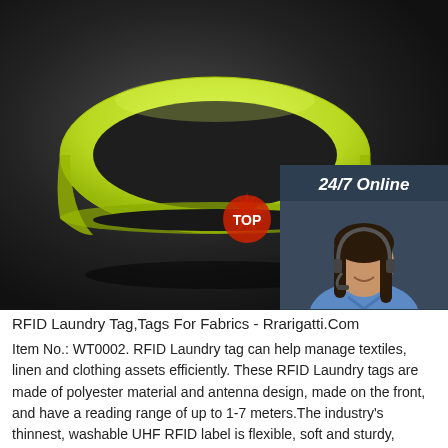[Figure (photo): A yellow-green silicone wristband/bracelet on a dark background, with an overlay chat widget showing '24/7 Online', a woman wearing a headset, 'Click here for free chat!' text, and an orange QUOTATION button. A red 'TOP' watermark is visible in the lower right area of the image.]
RFID Laundry Tag,Tags For Fabrics - Rrarigatti.Com
Item No.: WT0002. RFID Laundry tag can help manage textiles, linen and clothing assets efficiently. These RFID Laundry tags are made of polyester material and antenna design, made on the front, and have a reading range of up to 1-7 meters.The industry's thinnest, washable UHF RFID label is flexible, soft and sturdy, making it ideal